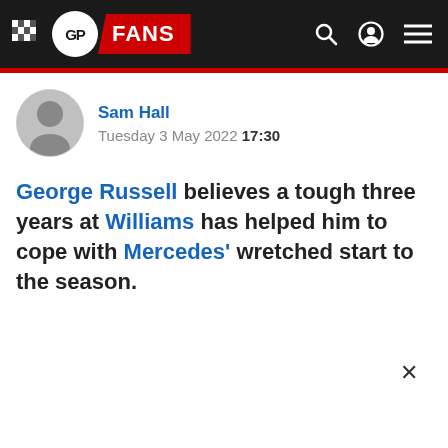GP FANS
Sam Hall
Tuesday 3 May 2022 17:30
George Russell believes a tough three years at Williams has helped him to cope with Mercedes' wretched start to the season.